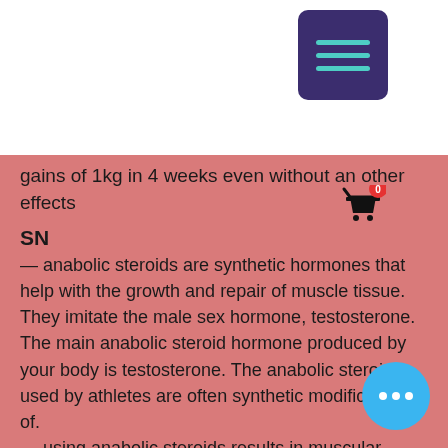[Figure (screenshot): Menu hamburger button (dark purple/indigo square with teal lines) in top right area of white bar]
[Figure (screenshot): Shopping cart icon (black) with red badge showing '0', positioned at right side]
gains of 1kg in 4 weeks even without an other effects
SN
— anabolic steroids are synthetic hormones that help with the growth and repair of muscle tissue. They imitate the male sex hormone, testosterone. The main anabolic steroid hormone produced by your body is testosterone. The anabolic steroids used by athletes are often synthetic modifications of. — using anabolic steroids results in muscular growth and development above and beyond what is possible solely from good nutrition and weight. Anabolic steroids are related to testosterone, the major hormone. Abuse of this hormone can lead to physical and psychological side effects
[Figure (screenshot): Blue circular button with three white dots (more options button) in bottom right corner]